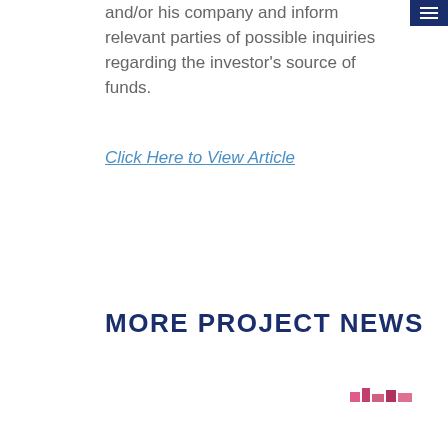and/or his company and inform relevant parties of possible inquiries regarding the investor's source of funds.
Click Here to View Article
MORE PROJECT NEWS
[Figure (photo): Small thumbnail image, partially visible at bottom left]
[Figure (photo): Small thumbnail image, partially visible at bottom right]